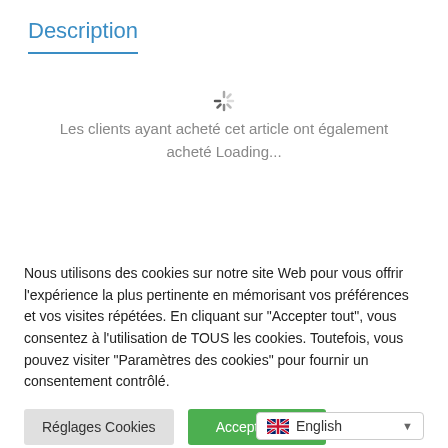Description
Les clients ayant acheté cet article ont également acheté Loading...
Nous utilisons des cookies sur notre site Web pour vous offrir l'expérience la plus pertinente en mémorisant vos préférences et vos visites répétées. En cliquant sur "Accepter tout", vous consentez à l'utilisation de TOUS les cookies. Toutefois, vous pouvez visiter "Paramètres des cookies" pour fournir un consentement contrôlé.
Réglages Cookies
Accepter tout
English